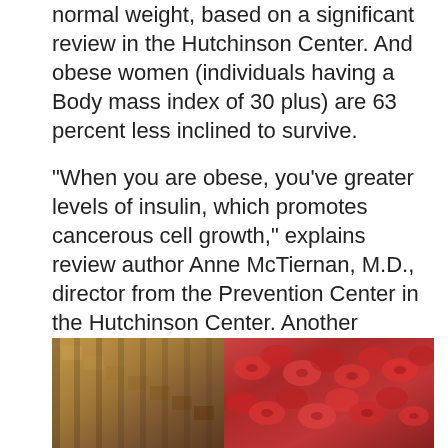normal weight, based on a significant review in the Hutchinson Center. And obese women (individuals having a Body mass index of 30 plus) are 63 percent less inclined to survive.
"When you are obese, you've greater levels of insulin, which promotes cancerous cell growth," explains review author Anne McTiernan, M.D., director from the Prevention Center in the Hutchinson Center. Another reason behind poor survival rates: Almost 40 % of seriously obese women obtain a considerably lower dose of chemotherapy compared to what they need, based on research in the College of Rochester. "The heavier you're, the greater chemotherapy you have to eliminate cancer — and a few physicians are frightened to provide such massive doses to patients," states Griggs, who authored the research.
[Figure (photo): A partial photograph showing what appears to be flowers or decorative items, split between warm brown/golden tones on the left and red tones on the right, visible at the bottom of the page.]